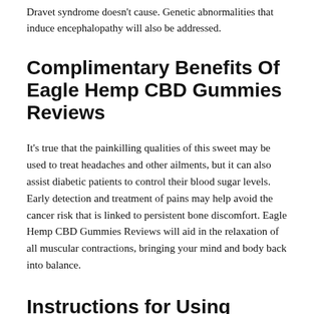Dravet syndrome doesn't cause. Genetic abnormalities that induce encephalopathy will also be addressed.
Complimentary Benefits Of Eagle Hemp CBD Gummies Reviews
It's true that the painkilling qualities of this sweet may be used to treat headaches and other ailments, but it can also assist diabetic patients to control their blood sugar levels. Early detection and treatment of pains may help avoid the cancer risk that is linked to persistent bone discomfort. Eagle Hemp CBD Gummies Reviews will aid in the relaxation of all muscular contractions, bringing your mind and body back into balance.
Instructions for Using Eagle Hemp CBD Gummies
Eagle Hemp CBD Gummies offer the same benefits as regular exercise